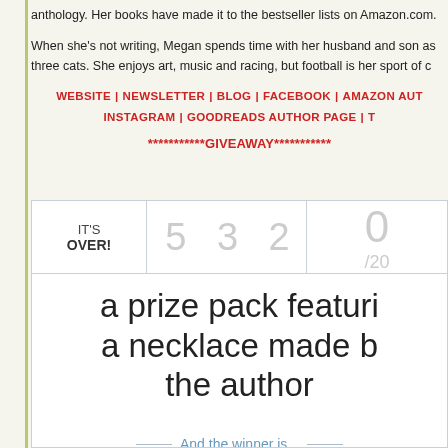anthology. Her books have made it to the bestseller lists on Amazon.com.
When she's not writing, Megan spends time with her husband and son as three cats. She enjoys art, music and racing, but football is her sport of c
WEBSITE | NEWSLETTER | BLOG | FACEBOOK | AMAZON AUT INSTAGRAM | GOODREADS AUTHOR PAGE | T
***********GIVEAWAY***********
[Figure (other): Giveaway widget showing IT'S OVER! with entry count 532 and 0/20, plus prize pack text 'a prize pack featuring a necklace made by the author' and 'And the winner is...']